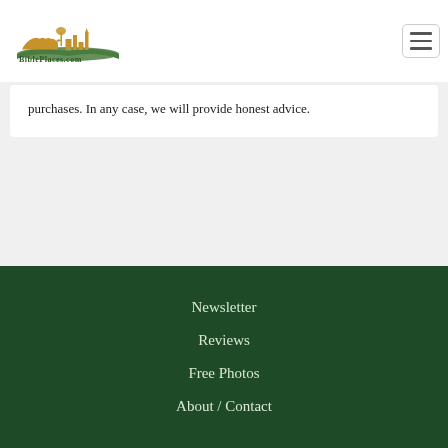[Figure (logo): BiblePlaces.com logo with skyline silhouette and open book in gold/green colors]
purchases. In any case, we will provide honest advice.
Newsletter
Reviews
Free Photos
About / Contact